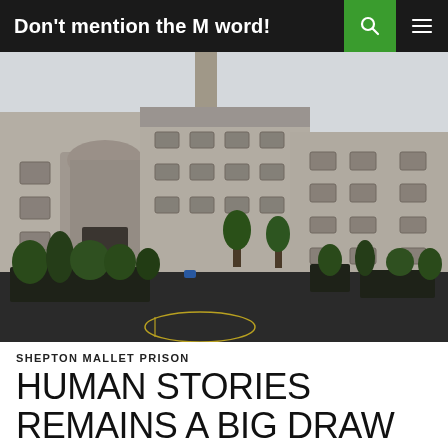Don't mention the M word!
[Figure (photo): Exterior courtyard of Shepton Mallet Prison, a large stone building with small barred windows, green planted areas in the foreground on a dark tarmac yard.]
SHEPTON MALLET PRISON
HUMAN STORIES REMAINS A BIG DRAW FOR SHEPTON MALLET PRISON